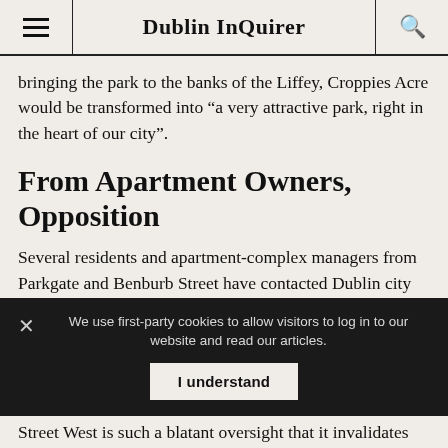Dublin InQuirer
bringing the park to the banks of the Liffey, Croppies Acre would be transformed into “a very attractive park, right in the heart of our city”.
From Apartment Owners, Opposition
Several residents and apartment-complex managers from Parkgate and Benburb Street have contacted Dublin city councillors to voice their disapproval of Option 3. They worry about more traffic coming through their neighbourhoods, and feel they haven’t been consulted
We use first-party cookies to allow visitors to log in to our website and read our articles.
Street West is such a blatant oversight that it invalidates